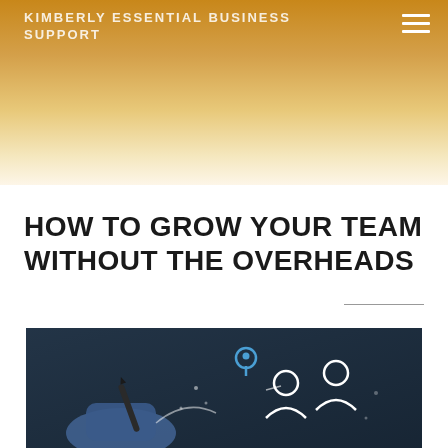KIMBERLY ESSENTIAL BUSINESS SUPPORT
HOW TO GROW YOUR TEAM WITHOUT THE OVERHEADS
[Figure (photo): A hand holding a pen writing on a dark surface with chalk-drawn network/people icons and a location pin marker, illustrating team building or business network concept]